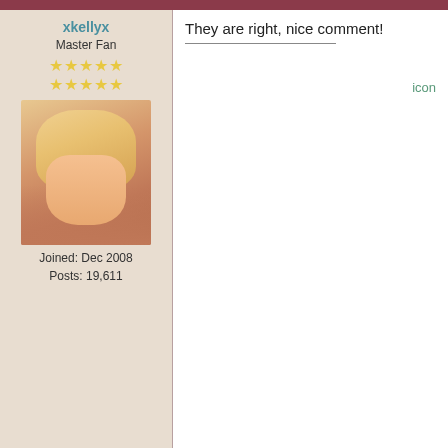xkellyx
Master Fan
Joined: Dec 2008
Posts: 19,611
They are right, nice comment!

icon
shinebrighterxx
Graphics Team Manager
04-26-2020, 01:21 AM
#276
Nice they responded, not surprised they would 🙂 Love how many artists are responding to her covers 😍

i don't love you much, do i? just more than anything else in this whole world, i think you hung the moon, i'd follow you to hell & back again ♪

Chelle